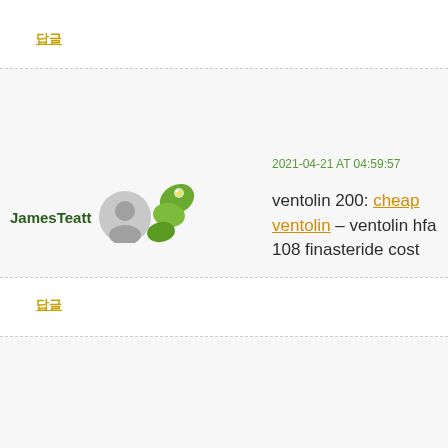답글
JamesTeatt
2021-04-21 AT 04:59:57
ventolin 200: cheap ventolin – ventolin hfa 108 finasteride cost
답글
JamesTeatt
2021-04-21 AT 22:24:22
how much is propecia: buy propecia –